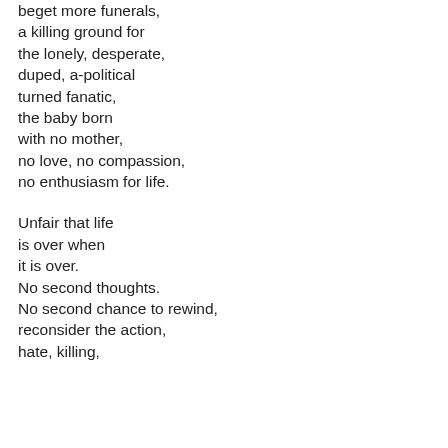beget more funerals,
a killing ground for
the lonely, desperate,
duped, a-political
turned fanatic,
the baby born
with no mother,
no love, no compassion,
no enthusiasm for life.

Unfair that life
is over when
it is over.
No second thoughts.
No second chance to rewind,
reconsider the action,
hate, killing,